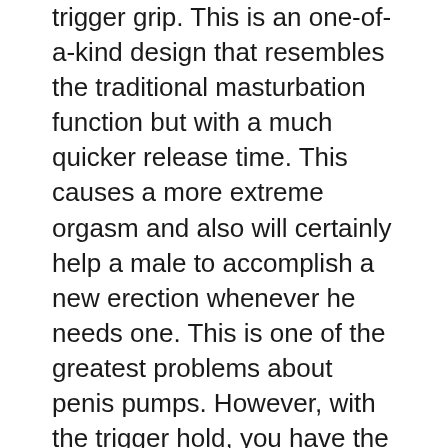trigger grip. This is an one-of-a-kind design that resembles the traditional masturbation function but with a much quicker release time. This causes a more extreme orgasm and also will certainly help a male to accomplish a new erection whenever he needs one. This is one of the greatest problems about penis pumps. However, with the trigger hold, you have the ability to control just how solid your erection is as well as this means that you are more probable to attain an erection every time.
One of the primary disadvantages of penis pumps is that they can take a very long time to end up being efficient. You may discover that you need to use them a number of times before you begin to see any kind of